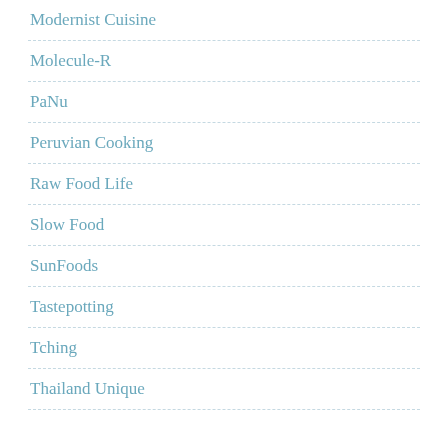Modernist Cuisine
Molecule-R
PaNu
Peruvian Cooking
Raw Food Life
Slow Food
SunFoods
Tastepotting
Tching
Thailand Unique